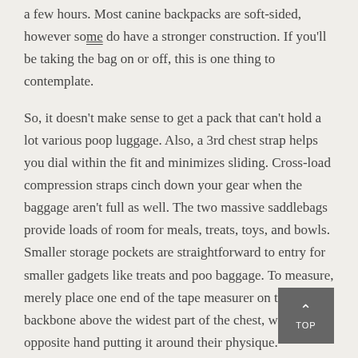a few hours. Most canine backpacks are soft-sided, however some do have a stronger construction. If you'll be taking the bag on or off, this is one thing to contemplate.
So, it doesn't make sense to get a pack that can't hold a lot various poop luggage. Also, a 3rd chest strap helps you dial within the fit and minimizes sliding. Cross-load compression straps cinch down your gear when the baggage aren't full as well. The two massive saddlebags provide loads of room for meals, treats, toys, and bowls. Smaller storage pockets are straightforward to entry for smaller gadgets like treats and poo baggage. To measure, merely place one end of the tape measurer on their backbone above the widest part of the chest, with the opposite hand putting it around their physique.
What Does Backpack To Carry Dog Mean?